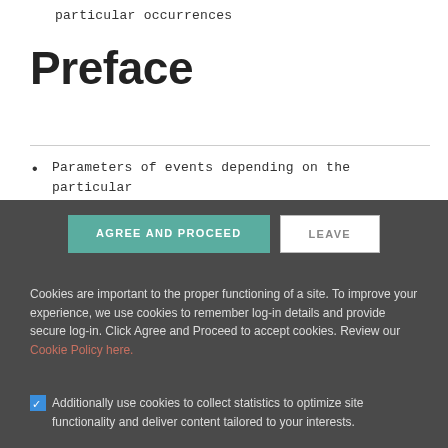particular occurrences
Preface
Parameters of events depending on the particular event.
AGREE AND PROCEED   LEAVE
Cookies are important to the proper functioning of a site. To improve your experience, we use cookies to remember log-in details and provide secure log-in. Click Agree and Proceed to accept cookies. Review our Cookie Policy here.
Additionally use cookies to collect statistics to optimize site functionality and deliver content tailored to your interests.